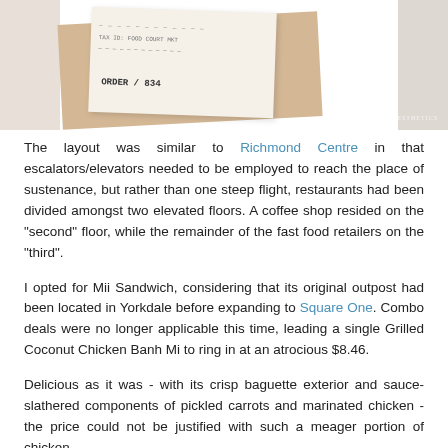[Figure (photo): A photo showing a brown paper bag with a receipt/order slip on top, placed on a white surface. The receipt shows ORDER: 834. A watermark reading 'Quirky Aesthetics' is visible in the bottom right of the photo.]
The layout was similar to Richmond Centre in that escalators/elevators needed to be employed to reach the place of sustenance, but rather than one steep flight, restaurants had been divided amongst two elevated floors. A coffee shop resided on the "second" floor, while the remainder of the fast food retailers on the "third".
I opted for Mii Sandwich, considering that its original outpost had been located in Yorkdale before expanding to Square One. Combo deals were no longer applicable this time, leading a single Grilled Coconut Chicken Banh Mi to ring in at an atrocious $8.46.
Delicious as it was - with its crisp baguette exterior and sauce-slathered components of pickled carrots and marinated chicken - the price could not be justified with such a meager portion of chicken.